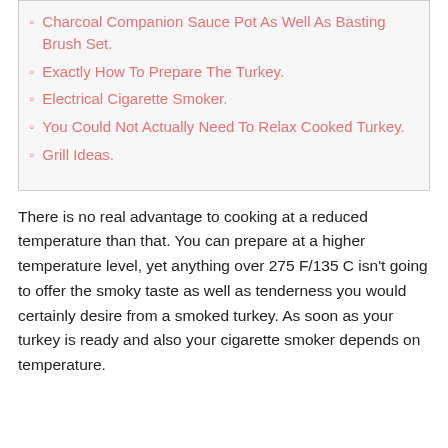Charcoal Companion Sauce Pot As Well As Basting Brush Set.
Exactly How To Prepare The Turkey.
Electrical Cigarette Smoker.
You Could Not Actually Need To Relax Cooked Turkey.
Grill Ideas.
There is no real advantage to cooking at a reduced temperature than that. You can prepare at a higher temperature level, yet anything over 275 F/135 C isn't going to offer the smoky taste as well as tenderness you would certainly desire from a smoked turkey. As soon as your turkey is ready and also your cigarette smoker depends on temperature.